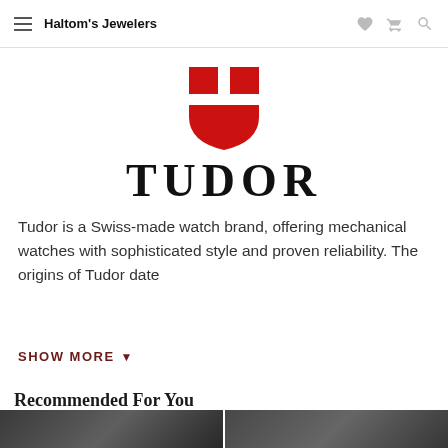Haltom's Jewelers
[Figure (logo): Tudor shield logo in red — a heraldic shield shape with a crossbar dividing the top portion into two sections]
TUDOR
Tudor is a Swiss-made watch brand, offering mechanical watches with sophisticated style and proven reliability. The origins of Tudor date
SHOW MORE ▾
Recommended For You
[Figure (photo): Two product thumbnail images of Tudor watches at the bottom of the page]